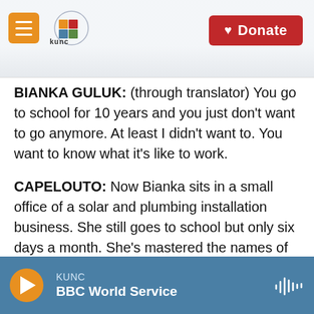KUNC logo and Donate button header
BIANKA GULUK: (through translator) You go to school for 10 years and you just don't want to go anymore. At least I didn't want to. You want to know what it's like to work.
CAPELOUTO: Now Bianka sits in a small office of a solar and plumbing installation business. She still goes to school but only six days a month. She's mastered the names of plumbing parts and knows how to figure labor cost. This teenager already has real life responsibilities.
KUNC / BBC World Service